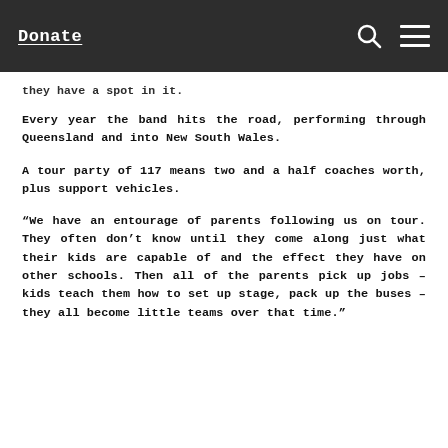Donate
they have a spot in it.
Every year the band hits the road, performing through Queensland and into New South Wales.
A tour party of 117 means two and a half coaches worth, plus support vehicles.
“We have an entourage of parents following us on tour. They often don’t know until they come along just what their kids are capable of and the effect they have on other schools. Then all of the parents pick up jobs – kids teach them how to set up stage, pack up the buses – they all become little teams over that time.”